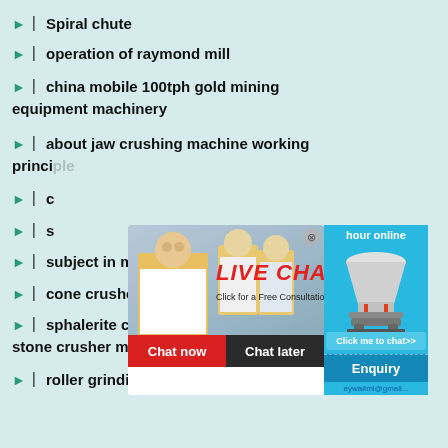Spiral chute
operation of raymond mill
china mobile 100tph gold mining equipment machinery
about jaw crushing machine working principle
c...
s...
subject in mining engineering
cone crusher prices trinidad
sphalerite crushing grinding stone crusher machine
roller grinding mill america
[Figure (screenshot): Live chat popup overlay with woman in hard hat, 'LIVE CHAT' red text, 'Click for a Free Consultation', Chat now and Chat later buttons, side panel with cone crusher image, hour online text, Click me to chat>> button, Enquiry button]